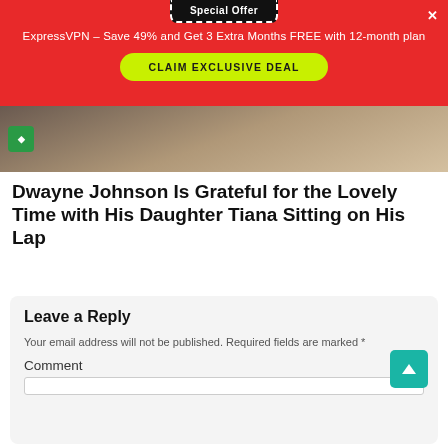[Figure (screenshot): Special Offer popup banner for ExpressVPN with red background, close button, dashed black tag, yellow CTA button]
Special Offer
ExpressVPN - Save 49% and Get 3 Extra Months FREE with 12-month plan
CLAIM EXCLUSIVE DEAL
[Figure (photo): Photo strip showing partial image of a person, with a green logo icon on the left]
Dwayne Johnson Is Grateful for the Lovely Time with His Daughter Tiana Sitting on His Lap
Leave a Reply
Your email address will not be published. Required fields are marked *
Comment